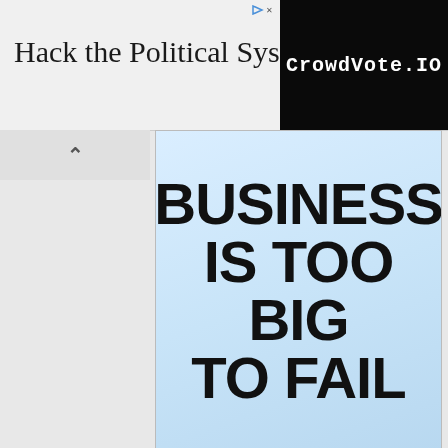[Figure (screenshot): Top advertisement banner: 'Hack the Political System.' text on left, CrowdVote.IO logo on black background on right, with ad indicator arrow]
[Figure (screenshot): Advertisement banner with bold black text 'BUSINESS IS TOO BIG TO FAIL' on light blue striped background]
[Figure (screenshot): Freedom WMLB AM 1690 radio advertisement showing John Fredericks Show, Stephen K. Bannon War Room, Doug Collins Show, Mark Levin show photos on left; text on right: FREEDOM, WMLB AM 1690, Trucking The Truth: Atlanta's Free Speech Blow Torch!, LISTEN NOW button; American flag and FREEDOM text at bottom left]